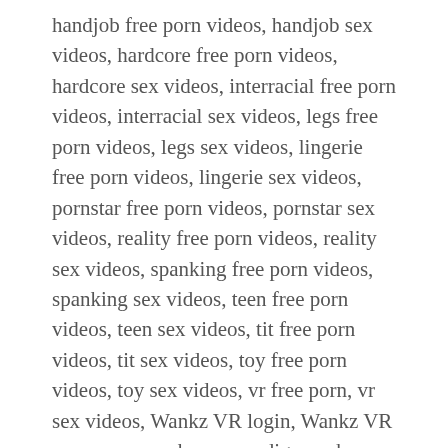handjob free porn videos, handjob sex videos, hardcore free porn videos, hardcore sex videos, interracial free porn videos, interracial sex videos, legs free porn videos, legs sex videos, lingerie free porn videos, lingerie sex videos, pornstar free porn videos, pornstar sex videos, reality free porn videos, reality sex videos, spanking free porn videos, spanking sex videos, teen free porn videos, teen sex videos, tit free porn videos, tit sex videos, toy free porn videos, toy sex videos, vr free porn, vr sex videos, Wankz VR login, Wankz VR porn pass, wankz vr porndig, wankz vr pornhd, wankz vr redtube, Wankzvr vporn, Wankzvr xhamster, Wankzvr xnxx, Wankzvr xxx, Wankzvr youporn, wankzvr.com free password, wankzvr.com hardsextube, wankzvr.com members, wankzvr.com password, wankzvr.com pornburst, wankzvr.com porntube, wankzvr.com